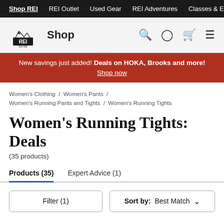Shop REI  REI Outlet  Used Gear  REI Adventures  Classes & E
[Figure (logo): REI Co-op logo with mountain graphic and Shop label]
New savings just added! Deals on HOKA, Brooks and more! Shop now
Women's Clothing / Women's Pants / Women's Running Pants and Tights / Women's Running Tights
Women's Running Tights: Deals
(35 products)
Products (35)  Expert Advice (1)
Filter (1)  Sort by: Best Match